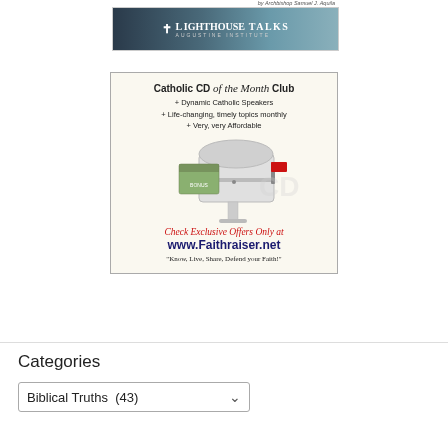by Archbishop Samuel J. Aquila
[Figure (logo): Lighthouse Talks Augustine Institute banner with cross icon on dark teal gradient background]
[Figure (infographic): Catholic CD of the Month Club advertisement with mailbox image. Text: Catholic CD of the Month Club + Dynamic Catholic Speakers + Life-changing, timely topics monthly + Very, very Affordable. Check Exclusive Offers Only at www.Faithraiser.net. Know, Live, Share, Defend your Faith!]
Categories
Biblical Truths  (43)